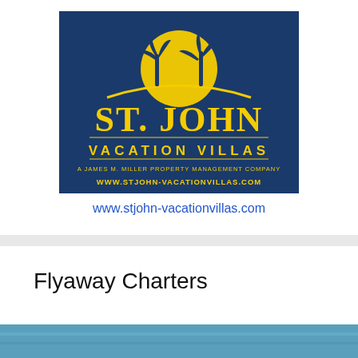[Figure (logo): St. John Vacation Villas logo — dark blue square background with a golden yellow sun and palm trees silhouette at top, large text 'ST. JOHN' in gold, 'VACATION VILLAS' below in gold spaced capitals, subtitle 'A James M. Miller Property Management Company', and website 'WWW.STJOHN-VACATIONVILLAS.COM']
www.stjohn-vacationvillas.com
Flyaway Charters
[Figure (photo): Partial photo visible at the very bottom of the page, appearing to show a coastal or aerial scene in blue tones.]